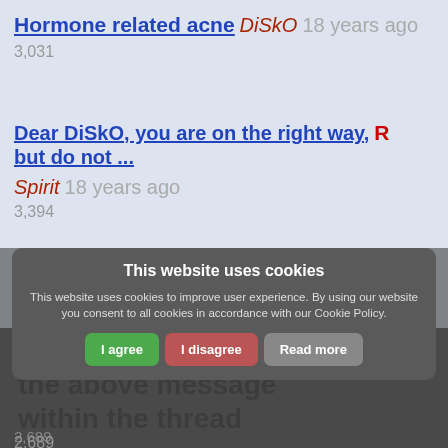Hormone related acne   DiSkO   18 years ago
3,031
Dear DiSkO, you are on the right way, but do not ...   R Spirit   18 years ago
3,394
what u going on about? im not taking any drugs! it...   DiSkO   18 years ago
2,725
about the flushes? i have done 4 liver lemon and o...   DiSkO   18 years ago
2,689
This is the position of
the above message
within the thread
This website uses cookies
This website uses cookies to improve user experience. By using our website you consent to all cookies in accordance with our Cookie Policy.
I agree   I disagree   Read more